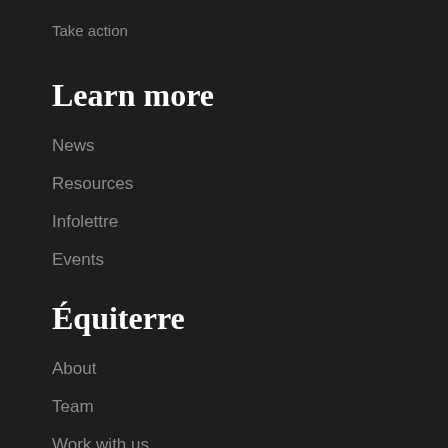Take action
Learn more
News
Resources
Infolettre
Events
Équiterre
About
Team
Work with us